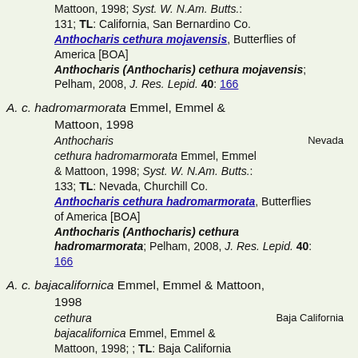Mattoon, 1998; Syst. W. N.Am. Butts.: 131; TL: California, San Bernardino Co. Anthocharis cethura mojavensis, Butterflies of America [BOA] Anthocharis (Anthocharis) cethura mojavensis; Pelham, 2008, J. Res. Lepid. 40: 166
A. c. hadromarmorata Emmel, Emmel & Mattoon, 1998 — Anthocharis cethura hadromarmorata Emmel, Emmel & Mattoon, 1998; Syst. W. N.Am. Butts.: 133; TL: Nevada, Churchill Co. Anthocharis cethura hadromarmorata, Butterflies of America [BOA] Anthocharis (Anthocharis) cethura hadromarmorata; Pelham, 2008, J. Res. Lepid. 40: 166
A. c. bajacalifornica Emmel, Emmel & Mattoon, 1998 — cethura bajacalifornica Emmel, Emmel & Mattoon, 1998; ; TL: Baja California (Norte) Anthocharis cethura bajacalifornica, Butterflies of America [BOA] Anthocharis cethura bajacalifornica; [NL4A],